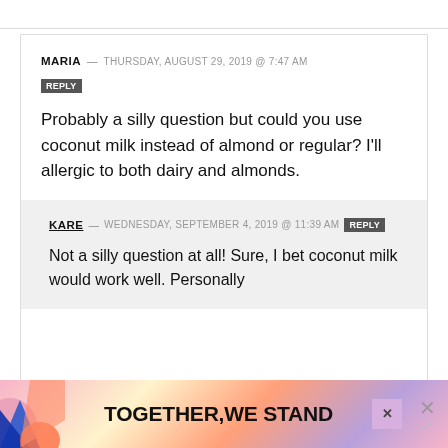MARIA — THURSDAY, AUGUST 29, 2019 @ 7:47 AM
REPLY
Probably a silly question but could you use coconut milk instead of almond or regular? I'll allergic to both dairy and almonds.
KARE — WEDNESDAY, SEPTEMBER 4, 2019 @ 11:39 AM REPLY
Not a silly question at all! Sure, I bet coconut milk would work well. Personally
[Figure (infographic): Advertisement banner at bottom reading TOGETHER WE STAND with colorful abstract shapes]